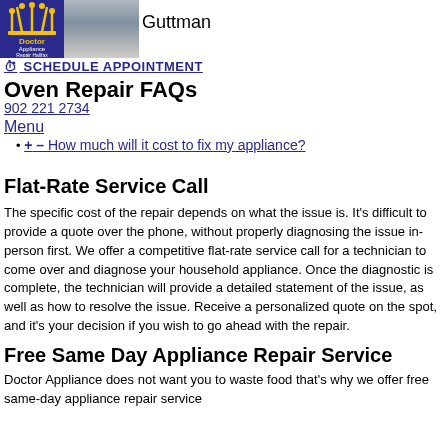[Figure (logo): Doctor Appliance Repair Halifax logo - blue background with stylized crown/tools graphic and text]
[Figure (photo): Headshot photo of a man (Guttman) in professional attire]
Guttman
SCHEDULE APPOINTMENT
Oven Repair FAQs
902 221 2734
Menu
+ – How much will it cost to fix my appliance?
Flat-Rate Service Call
The specific cost of the repair depends on what the issue is. It's difficult to provide a quote over the phone, without properly diagnosing the issue in-person first. We offer a competitive flat-rate service call for a technician to come over and diagnose your household appliance. Once the diagnostic is complete, the technician will provide a detailed statement of the issue, as well as how to resolve the issue. Receive a personalized quote on the spot, and it's your decision if you wish to go ahead with the repair.
Free Same Day Appliance Repair Service
Doctor Appliance does not want you to waste food that's why we offer free same-day appliance repair service